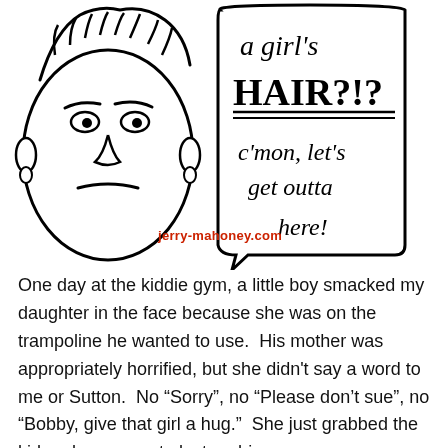[Figure (illustration): Hand-drawn cartoon of a grumpy-faced person with messy hair and earrings on the left, and a speech bubble on the right containing handwritten text: 'a girl's HAIR?!? c'mon, let's get outta here!' with a website watermark 'jerry-mahoney.com' below in red.]
One day at the kiddie gym, a little boy smacked my daughter in the face because she was on the trampoline he wanted to use.  His mother was appropriately horrified, but she didn't say a word to me or Sutton.  No “Sorry”, no “Please don’t sue”, no “Bobby, give that girl a hug.”  She just grabbed the kid and ran away to lecture him.